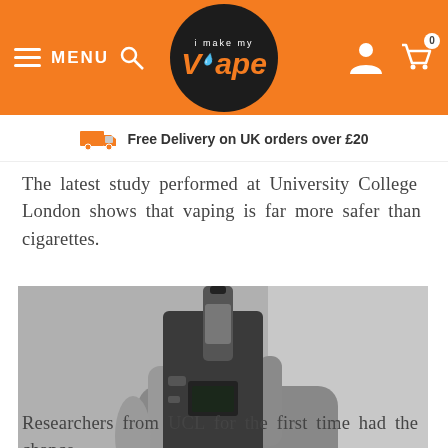MENU [search icon] | iMakeMyVape logo | [user icon] [cart icon with 0]
Free Delivery on UK orders over £20
The latest study performed at University College London shows that vaping is far more safer than cigarettes.
[Figure (photo): Black and white close-up photo of a hand holding a box mod vape device with a tank/clearomizer attached.]
Researchers from UCL for the first time had the chance